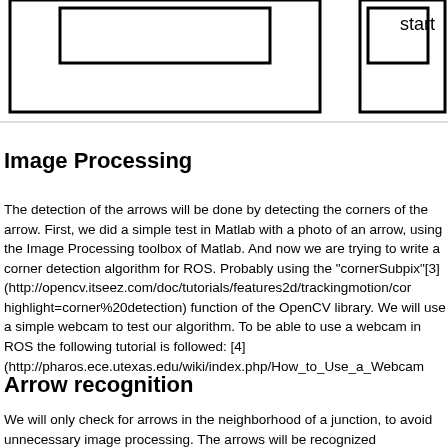[Figure (schematic): Partial flowchart diagram showing rectangles/boxes connected by lines, with the label 'start' visible on the right side. The diagram is cropped at the top of the page.]
Image Processing
The detection of the arrows will be done by detecting the corners of the arrow. First, we did a simple test in Matlab with a photo of an arrow, using the Image Processing toolbox of Matlab. And now we are trying to write a corner detection algorithm for ROS. Probably using the "cornerSubpix"[3] (http://opencv.itseez.com/doc/tutorials/features2d/trackingmotion/cor highlight=corner%20detection) function of the OpenCV library. We will use a simple webcam to test our algorithm. To be able to use a webcam in ROS the following tutorial is followed: [4] (http://pharos.ece.utexas.edu/wiki/index.php/How_to_Use_a_Webcam .
Arrow recognition
We will only check for arrows in the neighborhood of a junction, to avoid unnecessary image processing. The arrows will be recognized